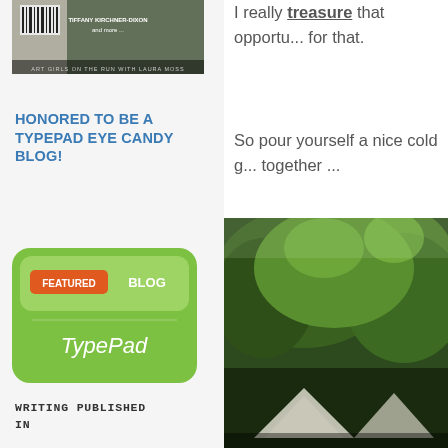[Figure (photo): Book cover with barcode, author names TIFFANY KIRCHNER-DIXON and more, subtitle ART GIRLS ON THE RUN WITH LAURA MOSS]
HONORED TO BE A TYPEPAD EYE CANDY BLOG!
[Figure (logo): TypePad Featured Blog badge - green rounded rectangle with FEATURED BLOG text and TypePad logo]
WRITING PUBLISHED IN
[Figure (photo): Romantic Prairie Style magazine cover - 173 WAYS to MAKE OLD]
I really treasure that opportu... for that.
So pour yourself a nice cold g... together ...
[Figure (photo): Outdoor photo showing trees with green foliage and what appears to be tent or canopy structures below]